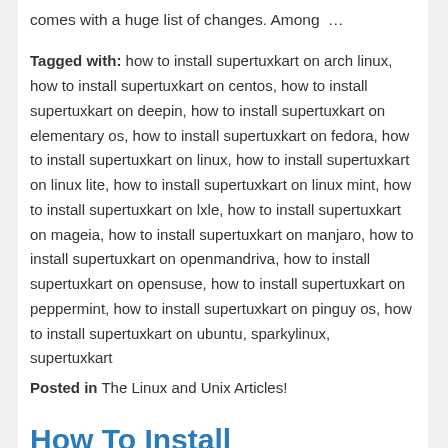comes with a huge list of changes. Among …
Tagged with: how to install supertuxkart on arch linux, how to install supertuxkart on centos, how to install supertuxkart on deepin, how to install supertuxkart on elementary os, how to install supertuxkart on fedora, how to install supertuxkart on linux, how to install supertuxkart on linux lite, how to install supertuxkart on linux mint, how to install supertuxkart on lxle, how to install supertuxkart on mageia, how to install supertuxkart on manjaro, how to install supertuxkart on openmandriva, how to install supertuxkart on opensuse, how to install supertuxkart on peppermint, how to install supertuxkart on pinguy os, how to install supertuxkart on ubuntu, sparkylinux, supertuxkart
Posted in The Linux and Unix Articles!
How To Install SuperTuxKart 0.8.2 Beta On Linux Systems
Posted on December 26, 2014 by Geekster — No Comments ↓
Hello Linux Geeksters. As you may know, SuperTuxKart